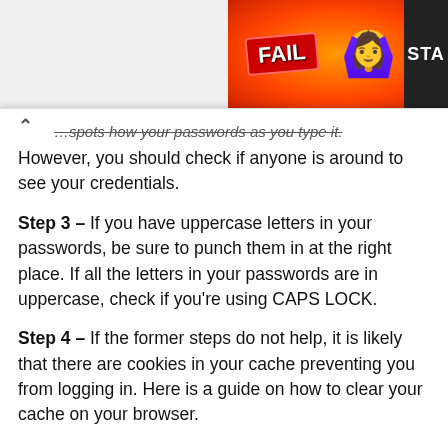[Figure (illustration): Colorful advertisement banner with 'FAIL' badge, cartoon girl facepalming, flames background, and 'STA' text on right edge]
...spots how your passwords as you type it. However, you should check if anyone is around to see your credentials.
Step 3 – If you have uppercase letters in your passwords, be sure to punch them in at the right place. If all the letters in your passwords are in uppercase, check if you're using CAPS LOCK.
Step 4 – If the former steps do not help, it is likely that there are cookies in your cache preventing you from logging in. Here is a guide on how to clear your cache on your browser.